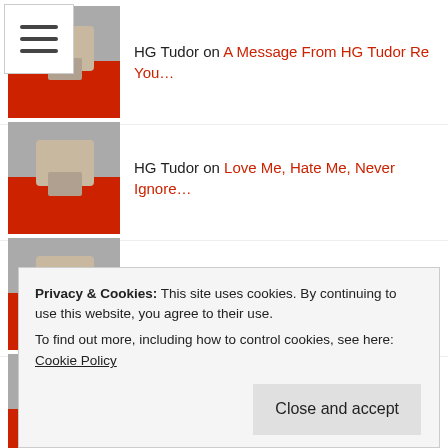HG Tudor on A Message From HG Tudor Re You…
HG Tudor on Love Me, Hate Me, Never Ignore…
HG Tudor on The Empathic Supernova
HG Tudor on Look Who's Back! The Ult…
Leigh on Look Who's Back! The Ult…
HG Tudor on Look Who's Back! The Ult…
Privacy & Cookies: This site uses cookies. By continuing to use this website, you agree to their use.
To find out more, including how to control cookies, see here: Cookie Policy
Close and accept